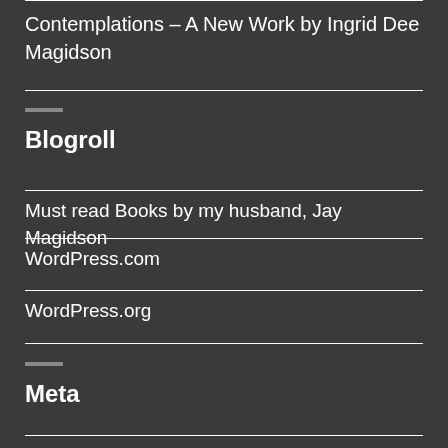Contemplations – A New Work by Ingrid Dee Magidson
Blogroll
Must read Books by my husband, Jay Magidson
WordPress.com
WordPress.org
Meta